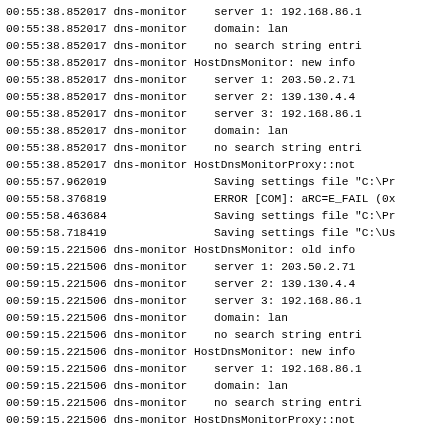00:55:38.852017 dns-monitor    server 1: 192.168.86.1
00:55:38.852017 dns-monitor    domain: lan
00:55:38.852017 dns-monitor    no search string entri
00:55:38.852017 dns-monitor HostDnsMonitor: new info
00:55:38.852017 dns-monitor    server 1: 203.50.2.71
00:55:38.852017 dns-monitor    server 2: 139.130.4.4
00:55:38.852017 dns-monitor    server 3: 192.168.86.1
00:55:38.852017 dns-monitor    domain: lan
00:55:38.852017 dns-monitor    no search string entri
00:55:38.852017 dns-monitor HostDnsMonitorProxy::not
00:55:57.962019                Saving settings file "C:\Pr
00:55:58.376819                ERROR [COM]: aRC=E_FAIL (0x
00:55:58.463684                Saving settings file "C:\Pr
00:55:58.718419                Saving settings file "C:\Us
00:59:15.221506 dns-monitor HostDnsMonitor: old info
00:59:15.221506 dns-monitor    server 1: 203.50.2.71
00:59:15.221506 dns-monitor    server 2: 139.130.4.4
00:59:15.221506 dns-monitor    server 3: 192.168.86.1
00:59:15.221506 dns-monitor    domain: lan
00:59:15.221506 dns-monitor    no search string entri
00:59:15.221506 dns-monitor HostDnsMonitor: new info
00:59:15.221506 dns-monitor    server 1: 192.168.86.1
00:59:15.221506 dns-monitor    domain: lan
00:59:15.221506 dns-monitor    no search string entri
00:59:15.221506 dns-monitor HostDnsMonitorProxy::not